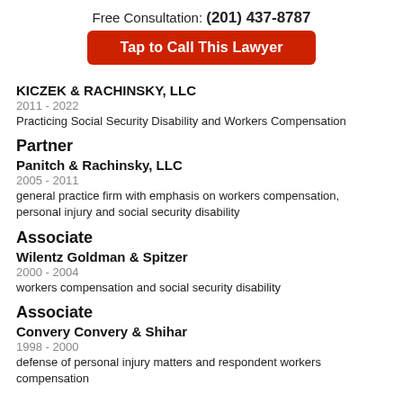Free Consultation: (201) 437-8787
Tap to Call This Lawyer
KICZEK & RACHINSKY, LLC
2011 - 2022
Practicing Social Security Disability and Workers Compensation
Partner
Panitch & Rachinsky, LLC
2005 - 2011
general practice firm with emphasis on workers compensation, personal injury and social security disability
Associate
Wilentz Goldman & Spitzer
2000 - 2004
workers compensation and social security disability
Associate
Convery Convery & Shihar
1998 - 2000
defense of personal injury matters and respondent workers compensation